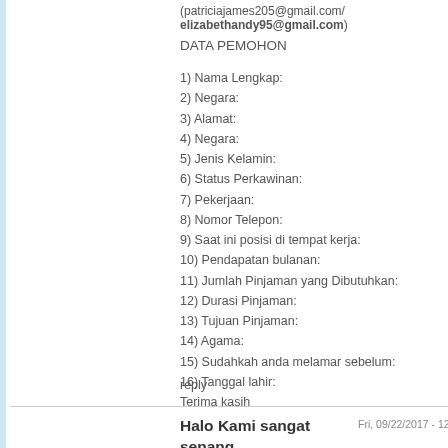(patriciajames205@gmail.com/ elizabethandy95@gmail.com)
DATA PEMOHON
1) Nama Lengkap:
2) Negara:
3) Alamat:
4) Negara:
5) Jenis Kelamin:
6) Status Perkawinan:
7) Pekerjaan:
8) Nomor Telepon:
9) Saat ini posisi di tempat kerja:
10) Pendapatan bulanan:
11) Jumlah Pinjaman yang Dibutuhkan:
12) Durasi Pinjaman:
13) Tujuan Pinjaman:
14) Agama:
15) Sudahkah anda melamar sebelum:
16) Tanggal lahir:
Terima kasih
reply
Halo Kami sangat senang
Fri, 09/22/2017 - 12:55 — IVAN ALEKSAND